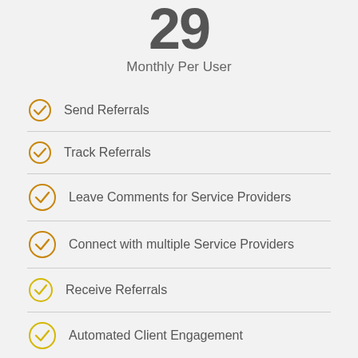29
Monthly Per User
Send Referrals
Track Referrals
Leave Comments for Service Providers
Connect with multiple Service Providers
Receive Referrals
Automated Client Engagement
Leave Comments for Referral Partners
Connect with multiple Referral Partners